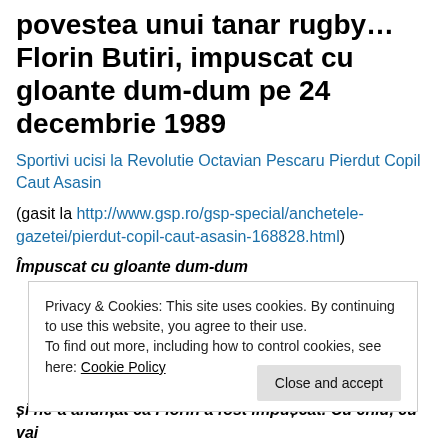povestea unui tanar rugby… Florin Butiri, impuscat cu gloante dum-dum pe 24 decembrie 1989
Sportivi ucisi la Revolutie Octavian Pescaru Pierdut Copil Caut Asasin
(gasit la http://www.gsp.ro/gsp-special/anchetele-gazetei/pierdut-copil-caut-asasin-168828.html)
Împuscat cu gloante dum-dum
Privacy & Cookies: This site uses cookies. By continuing to use this website, you agree to their use. To find out more, including how to control cookies, see here: Cookie Policy
și ne-a anunțat ca Florin a fost impușcat. Cu chiu, cu vai